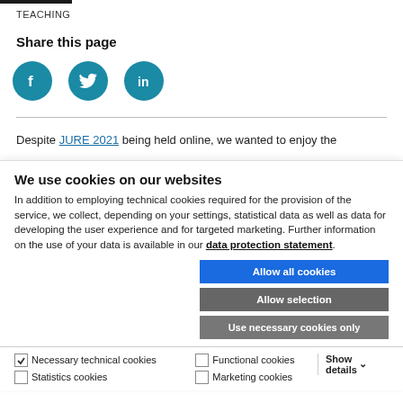TEACHING
Share this page
[Figure (illustration): Three circular social media icons: Facebook (f), Twitter (bird), LinkedIn (in), all in teal/blue color]
Despite JURE 2021 being held online, we wanted to enjoy the
We use cookies on our websites
In addition to employing technical cookies required for the provision of the service, we collect, depending on your settings, statistical data as well as data for developing the user experience and for targeted marketing. Further information on the use of your data is available in our data protection statement.
Allow all cookies
Allow selection
Use necessary cookies only
✓ Necessary technical cookies   Functional cookies   Show details ∨
Statistics cookies   Marketing cookies